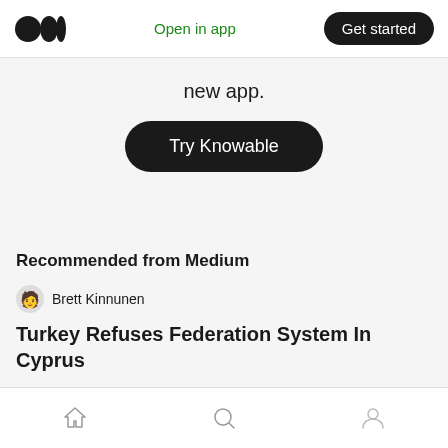Medium logo | Open in app | Get started
new app.
Try Knowable
Recommended from Medium
Brett Kinnunen
Turkey Refuses Federation System In Cyprus
Home | Search | Profile